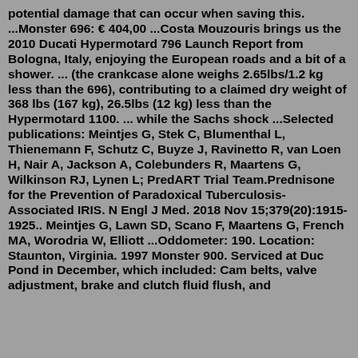potential damage that can occur when saving this. ...Monster 696: € 404,00 ...Costa Mouzouris brings us the 2010 Ducati Hypermotard 796 Launch Report from Bologna, Italy, enjoying the European roads and a bit of a shower. ... (the crankcase alone weighs 2.65lbs/1.2 kg less than the 696), contributing to a claimed dry weight of 368 lbs (167 kg), 26.5lbs (12 kg) less than the Hypermotard 1100. ... while the Sachs shock ...Selected publications: Meintjes G, Stek C, Blumenthal L, Thienemann F, Schutz C, Buyze J, Ravinetto R, van Loen H, Nair A, Jackson A, Colebunders R, Maartens G, Wilkinson RJ, Lynen L; PredART Trial Team.Prednisone for the Prevention of Paradoxical Tuberculosis-Associated IRIS. N Engl J Med. 2018 Nov 15;379(20):1915-1925.. Meintjes G, Lawn SD, Scano F, Maartens G, French MA, Worodria W, Elliott ...Oddometer: 190. Location: Staunton, Virginia. 1997 Monster 900. Serviced at Duc Pond in December, which included: Cam belts, valve adjustment, brake and clutch fluid flush, and